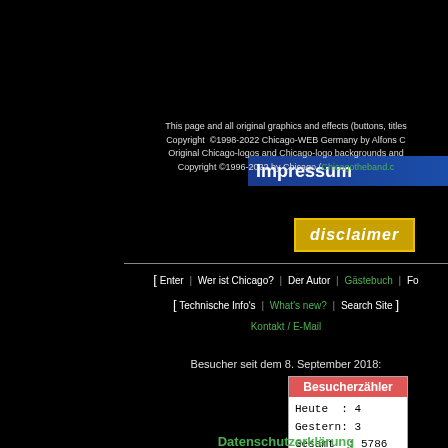Impressum
This page and all original graphics and effects (buttons, titles... Copyright ©1998-2022 Chicago-WEB Germany by Alfons C... Original Chicago-logos and Chicago-logo backgrounds and... Copyright ©1996-2022 by Chicago (Chicagotheband.c...
[Figure (other): Gold/yellow disclaimer button with italic bold white text 'disclaimer' on dark gold background with yellow border]
[ Enter | Wer ist Chicago? | Der Autor | Gästebuch | Fo... [ Technische Info's | What's new? | Search Site ] Kontakt / E-Mail
Besucher seit dem 8. September 2018:
| Besucherzähler |
| --- |
| Heute   : 4 |
| Gestern: 3 |
| Gesamt  : 5786 |
| Online  : 1 |
Datenschutzerklärung